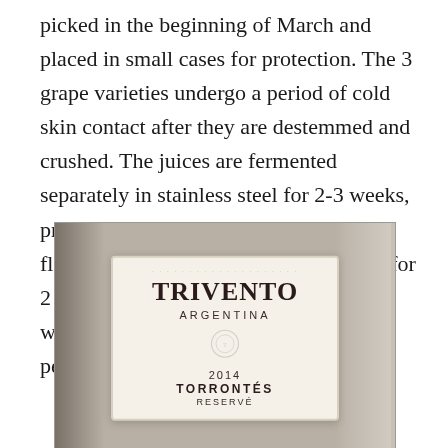picked in the beginning of March and placed in small cases for protection. The 3 grape varieties undergo a period of cold skin contact after they are destemmed and crushed. The juices are fermented separately in stainless steel for 2-3 weeks, preserving the grapes' rich aromatic flavor. The wines are blended and aged for 2 months in bottle before release. The wine has hints of pear, pineapple and peach. $15
[Figure (photo): Photo of a Trivento Argentina 2014 Torrontés Reserve wine bottle label, with a wine glass visible in the background on the right.]